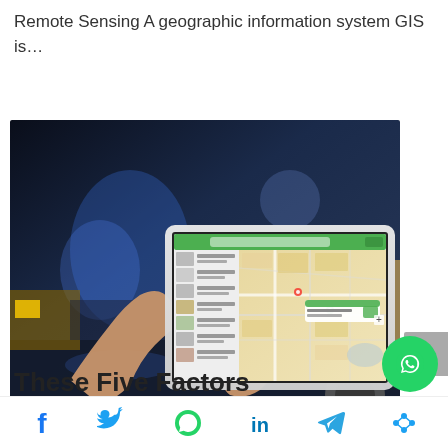Remote Sensing A geographic information system GIS is…
[Figure (photo): Person holding a tablet displaying a GIS map application with location markers, photographed against a blurred nighttime street background]
These Five Factors
[Figure (other): Social sharing bar with Facebook, Twitter, WhatsApp, LinkedIn, Telegram, and share icons; also a floating WhatsApp button]